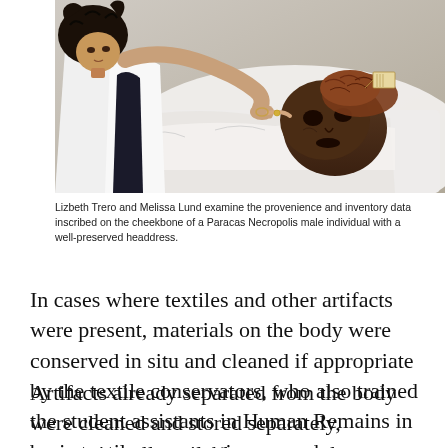[Figure (photo): A woman with dark curly hair wearing a white lab coat leans over and points at a mummified human head with a well-preserved headdress, lying on white tissue/wrapping material. A tag is visible attached to the mummy.]
Lizbeth Trero and Melissa Lund examine the provenience and inventory data inscribed on the cheekbone of a Paracas Necropolis male individual with a well-preserved headdress.
In cases where textiles and other artifacts were present, materials on the body were conserved in situ and cleaned if appropriate by the textile conservators, who also trained the student assistants in Human Remains in basic textile conservation procedures.
Artifacts already separated from the body were cleaned and stored separately, conserving all available contextual information. Both digital and slide photographs were taken to record object identity and